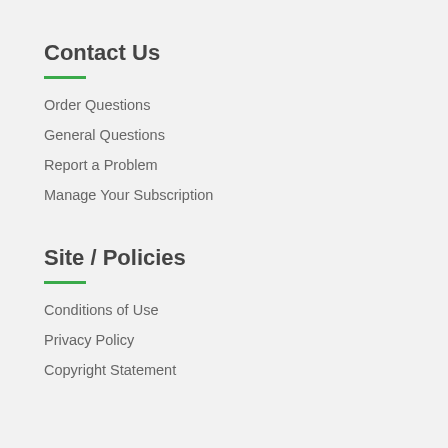Contact Us
Order Questions
General Questions
Report a Problem
Manage Your Subscription
Site / Policies
Conditions of Use
Privacy Policy
Copyright Statement